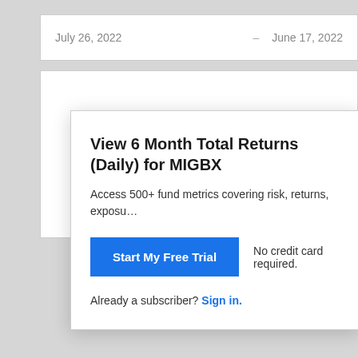July 26, 2022  –  June 17, 2022
View 6 Month Total Returns (Daily) for MIGBX
Access 500+ fund metrics covering risk, returns, exposu…
Start My Free Trial
No credit card required.
Already a subscriber? Sign in.